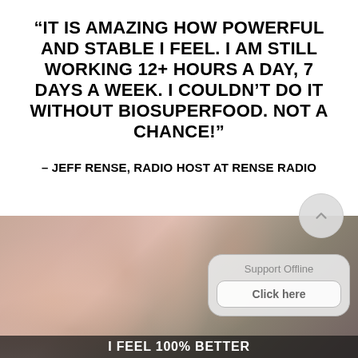“IT IS AMAZING HOW POWERFUL AND STABLE I FEEL. I AM STILL WORKING 12+ HOURS A DAY, 7 DAYS A WEEK. I COULDN’T DO IT WITHOUT BIOSUPERFOOD. NOT A CHANCE!”
- JEFF RENSE, RADIO HOST AT RENSE RADIO
[Figure (photo): Close-up photo of a person's hand/fingers raised, with a blurred pinkish-gray background]
Support Offline
Click here